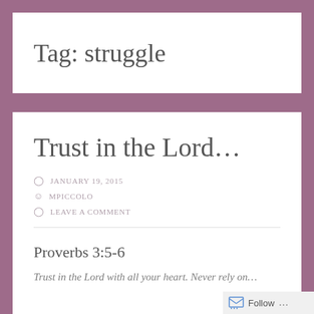Tag: struggle
Trust in the Lord...
JANUARY 19, 2015
MPICCOLO
LEAVE A COMMENT
Proverbs 3:5-6
Trust in the Lord with all your heart. Never rely on...